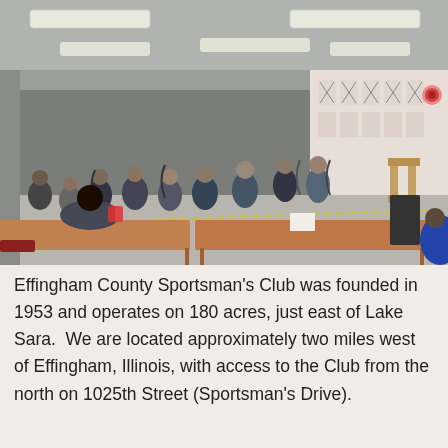[Figure (photo): Indoor archery range with multiple archers standing and shooting at targets on the far wall. Several people are seated at folding tables in the foreground. The facility has a concrete ceiling with fluorescent lighting.]
Effingham County Sportsman's Club was founded in 1953 and operates on 180 acres, just east of Lake Sara.  We are located approximately two miles west of Effingham, Illinois, with access to the Club from the north on 1025th Street (Sportsman's Drive).